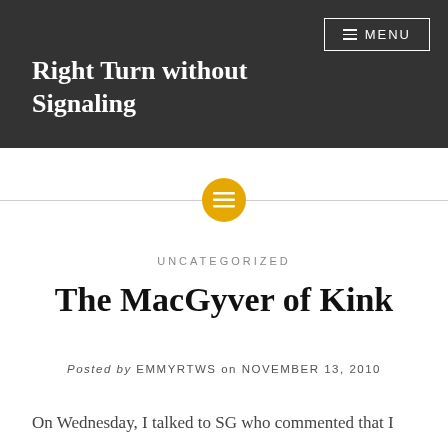Right Turn without Signaling
[Figure (other): Decorative horizontal divider with a gold circle containing a menu/lines icon in the center]
UNCATEGORIZED
The MacGyver of Kink
Posted by EMMYRTWS on NOVEMBER 13, 2010
On Wednesday, I talked to SG who commented that I